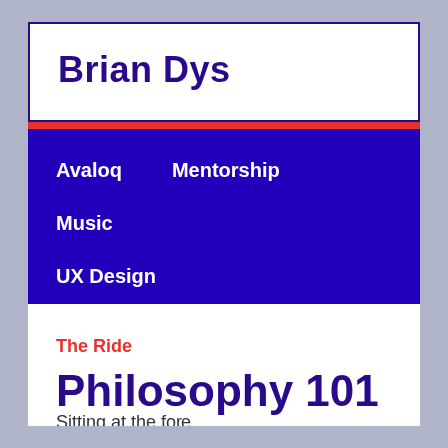Brian Dys
Avaloq
Mentorship
Music
UX Design
The Ride
Philosophy 101
Sitting at the fore...